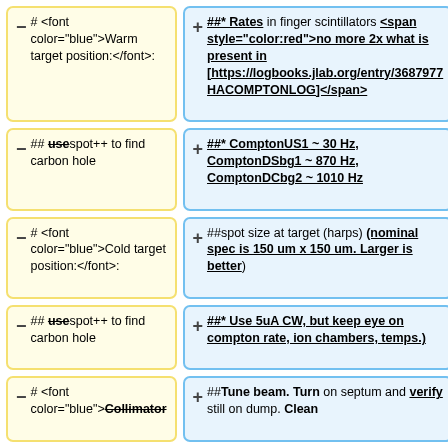# <font color="blue">Warm target position:</font>:
##* Rates in finger scintillators <span style="color:red">no more 2x what is present in [https://logbooks.jlab.org/entry/3687977 HACOMPTONLOG]</span>
## use spot++ to find carbon hole
##* ComptonUS1 ~ 30 Hz, ComptonDSbg1 ~ 870 Hz, ComptonDCbg2 ~ 1010 Hz
# <font color="blue">Cold target position:</font>:
##spot size at target (harps) (nominal spec is 150 um x 150 um. Larger is better)
## use spot++ to find carbon hole
##* Use 5uA CW, but keep eye on compton rate, ion chambers, temps.)
# <font color="blue">Collimator
##Tune beam. Turn on septum and verify still on dump. Clean